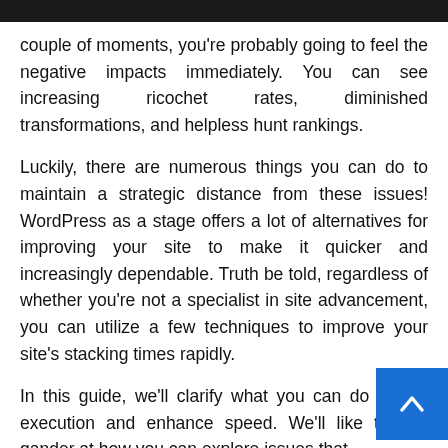couple of moments, you're probably going to feel the negative impacts immediately. You can see increasing ricochet rates, diminished transformations, and helpless hunt rankings.
Luckily, there are numerous things you can do to maintain a strategic distance from these issues! WordPress as a stage offers a lot of alternatives for improving your site to make it quicker and increasingly dependable. Truth be told, regardless of whether you're not a specialist in site advancement, you can utilize a few techniques to improve your site's stacking times rapidly.
In this guide, we'll clarify what you can do to site execution and enhance speed. We'll like take a gander at how you can explore issues that